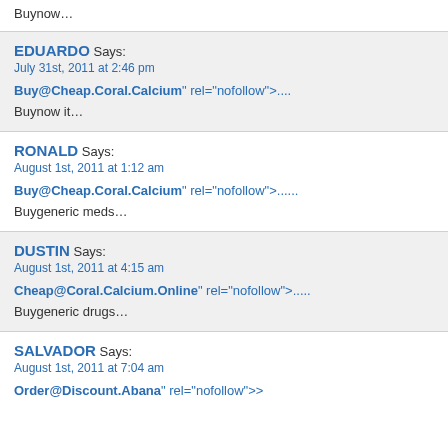Buynow…
EDUARDO Says:
July 31st, 2011 at 2:46 pm
Buy@Cheap.Coral.Calcium" rel="nofollow">....
Buynow it…
RONALD Says:
August 1st, 2011 at 1:12 am
Buy@Cheap.Coral.Calcium" rel="nofollow">......
Buygeneric meds…
DUSTIN Says:
August 1st, 2011 at 4:15 am
Cheap@Coral.Calcium.Online" rel="nofollow">.....
Buygeneric drugs…
SALVADOR Says:
August 1st, 2011 at 7:04 am
Order@Discount.Abana" rel="nofollow">